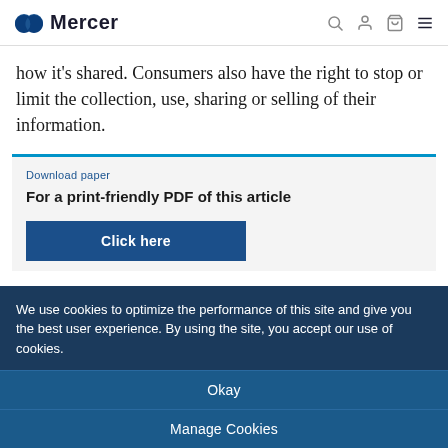Mercer
how it’s shared. Consumers also have the right to stop or limit the collection, use, sharing or selling of their information.
Download paper
For a print-friendly PDF of this article
Click here
We use cookies to optimize the performance of this site and give you the best user experience. By using the site, you accept our use of cookies.
Okay
Manage Cookies